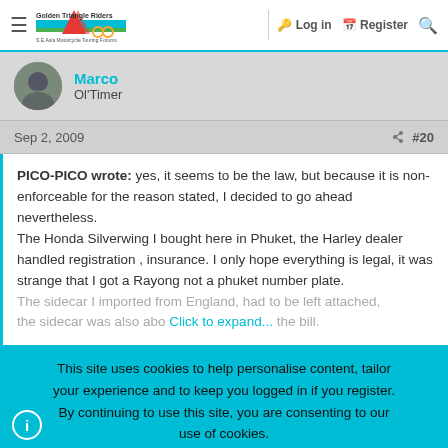Golden Triangle Riders — Log in | Register
Marco
Ol'Timer
Sep 2, 2009  #20
PICO-PICO wrote: yes, it seems to be the law, but because it is non-enforceable for the reason stated, I decided to go ahead nevertheless.
The Honda Silverwing I bought here in Phuket, the Harley dealer handled registration , insurance. I only hope everything is legal, it was strange that I got a Rayong not a phuket number plate.
The sidecar I imported from England, had to be left attached,
Click to expand...
This site uses cookies to help personalise content, tailor your experience and to keep you logged in if you register.
By continuing to use this site, you are consenting to our use of cookies.
Accept   Learn more...